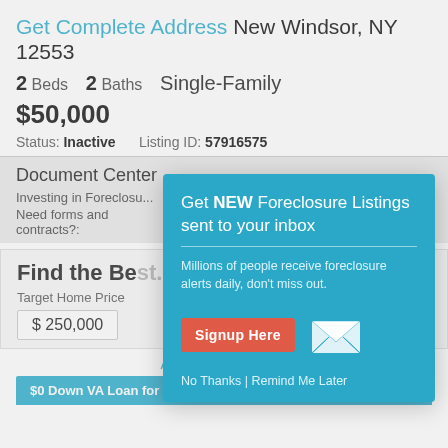Get Complete Address New Windsor, NY 12553
2 Beds  2 Baths  Single-Family
$50,000
Status: Inactive    Listing ID: 57916575
Document Center
Investing in Foreclosu...
Need forms and contracts?:
[Figure (infographic): Modal popup overlay with teal background. Title: 'Get NEW Foreclosure Listings sent to your inbox'. Subtext: 'Millions of people receive foreclosure alerts daily, don't miss out.' Red 'Signup Here' button and mail envelope icon. Footer text: 'No Thanks | Remind Me Later']
Find the Be...
Target Home Price
$ 250,000
Add More Details ▾
$0 Down VA Loan for Veterans